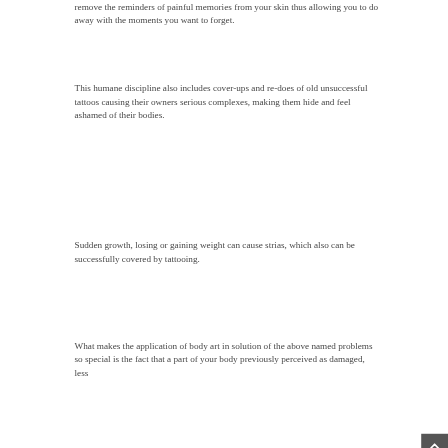remove the reminders of painful memories from your skin thus allowing you to do away with the moments you want to forget.
This humane discipline also includes cover-ups and re-does of old unsuccessful tattoos causing their owners serious complexes, making them hide and feel ashamed of their bodies.
Sudden growth, losing or gaining weight can cause strias, which also can be successfully covered by tattooing.
What makes the application of body art in solution of the above named problems so special is the fact that a part of your body previously perceived as damaged, less